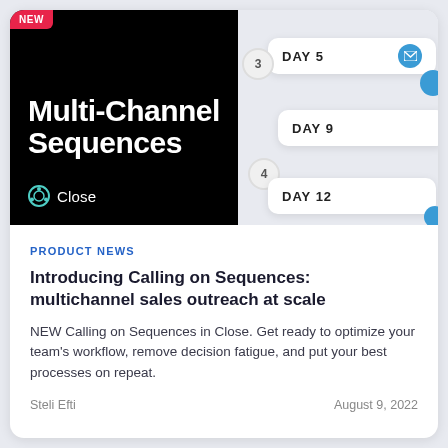[Figure (screenshot): Hero image showing Multi-Channel Sequences product feature. Left half is black with 'NEW' badge, large white bold title 'Multi-Channel Sequences', and Close logo. Right half shows UI cards with DAY 5, DAY 9, DAY 12 labels on white cards over light grey background.]
PRODUCT NEWS
Introducing Calling on Sequences: multichannel sales outreach at scale
NEW Calling on Sequences in Close. Get ready to optimize your team's workflow, remove decision fatigue, and put your best processes on repeat.
Steli Efti
August 9, 2022